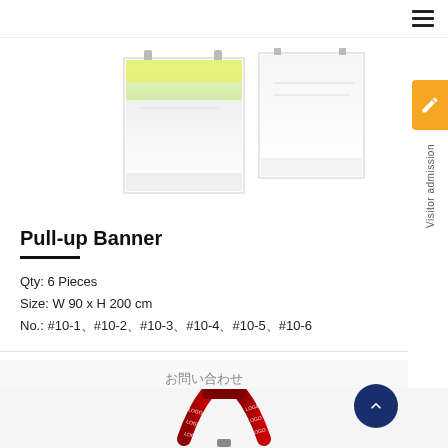≡
[Figure (photo): Two pull-up banner mockups shown side by side — one with a yellow accent band and one plain white, both with metal hanging clips at the top]
Pull-up Banner
Qty: 6 Pieces
Size: W 90 x H 200 cm
No.: #10-1、#10-2、#10-3、#10-4、#10-5、#10-6
お問い合わせ
[Figure (photo): Red lanyard with repeating white LOGO text printed on it, shown in a loop/triangle shape with a metal clasp at the bottom]